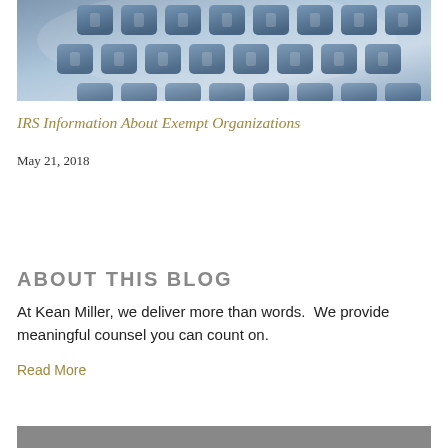[Figure (photo): Close-up photo of a calculator or keyboard with blue/grey keys on a light background]
IRS Information About Exempt Organizations
May 21, 2018
ABOUT THIS BLOG
At Kean Miller, we deliver more than words.  We provide meaningful counsel you can count on.
Read More